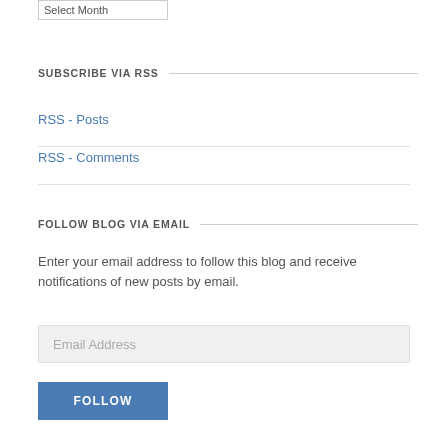Select Month
SUBSCRIBE VIA RSS
RSS - Posts
RSS - Comments
FOLLOW BLOG VIA EMAIL
Enter your email address to follow this blog and receive notifications of new posts by email.
Email Address
FOLLOW